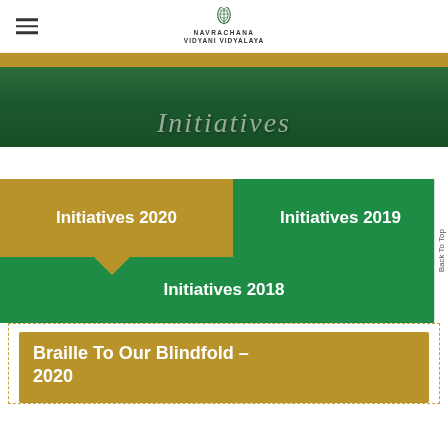NAVRACHANA VIDYANI VIDYALAYA
[Figure (illustration): Navrachana Vidyani Vidyalaya logo - stylized leaf/plant emblem with school name below]
Initiatives
Initiatives 2020
Initiatives 2019
Initiatives 2018
Braille To Our Blindfold – 2020